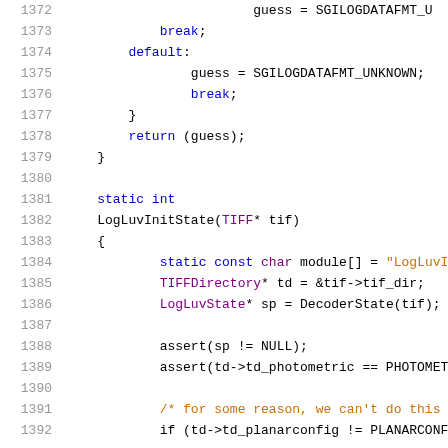[Figure (screenshot): Source code listing in C, lines 1372-1392, showing end of a switch/case block and beginning of LogLuvInitState function. Syntax-highlighted code with line numbers on the left in gray, keywords in blue, types in purple, string/comment text in orange.]